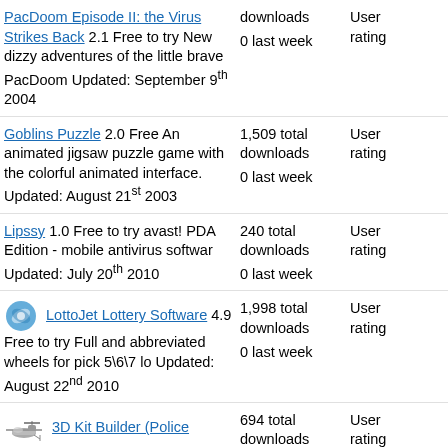PacDoom Episode II: the Virus Strikes Back 2.1 Free to try New dizzy adventures of the little brave PacDoom Updated: September 9th 2004 | downloads | 0 last week | User rating
Goblins Puzzle 2.0 Free An animated jigsaw puzzle game with the colorful animated interface. Updated: August 21st 2003 | 1,509 total downloads | 0 last week | User rating
Lipssy 1.0 Free to try avast! PDA Edition - mobile antivirus softwar Updated: July 20th 2010 | 240 total downloads | 0 last week | User rating
LottoJet Lottery Software 4.9 Free to try Full and abbreviated wheels for pick 5\6\7 lo Updated: August 22nd 2010 | 1,998 total downloads | 0 last week | User rating
3D Kit Builder (Police Helicopter 2) 3.5 Free to try Ready to assemble 3D Model | 694 total downloads | User rating